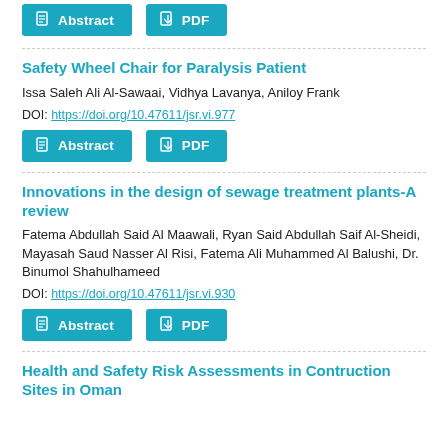[Figure (other): Abstract and PDF buttons at top]
Safety Wheel Chair for Paralysis Patient
Issa Saleh Ali Al-Sawaai, Vidhya Lavanya, Aniloy Frank
DOI: https://doi.org/10.47611/jsr.vi.977
[Figure (other): Abstract and PDF buttons]
Innovations in the design of sewage treatment plants-A review
Fatema Abdullah Said Al Maawali, Ryan Said Abdullah Saif Al-Sheidi, Mayasah Saud Nasser Al Risi, Fatema Ali Muhammed Al Balushi, Dr. Binumol Shahulhameed
DOI: https://doi.org/10.47611/jsr.vi.930
[Figure (other): Abstract and PDF buttons]
Health and Safety Risk Assessments in Contruction Sites in Oman